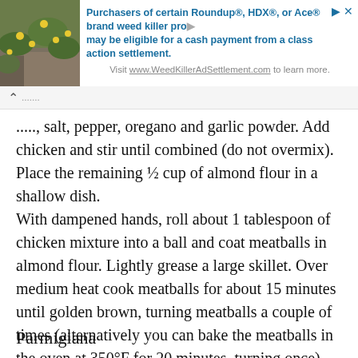[Figure (other): Advertisement banner with plant/flower photo on left and text about Roundup weed killer class action settlement on right]
....., salt, pepper, oregano and garlic powder. Add chicken and stir until combined (do not overmix). Place the remaining ½ cup of almond flour in a shallow dish. With dampened hands, roll about 1 tablespoon of chicken mixture into a ball and coat meatballs in almond flour. Lightly grease a large skillet. Over medium heat cook meatballs for about 15 minutes until golden brown, turning meatballs a couple of times (alternatively you can bake the meatballs in the oven at 350°F for 20 minutes, turning once).
Parmigiana